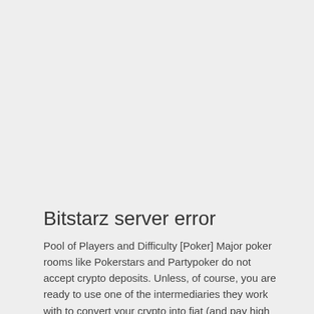Bitstarz server error
Pool of Players and Difficulty [Poker] Major poker rooms like Pokerstars and Partypoker do not accept crypto deposits. Unless, of course, you are ready to use one of the intermediaries they work with to convert your crypto into fiat (and pay high fees doing so). Therefore, if you want to play poker with